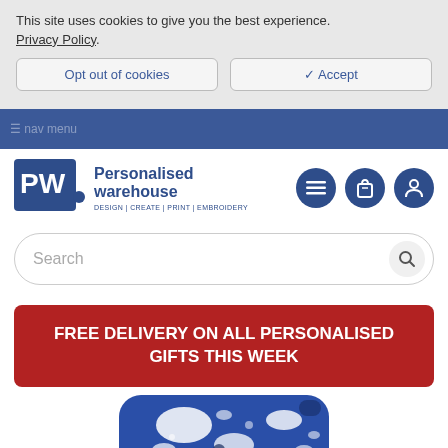This site uses cookies to give you the best experience. Privacy Policy.
Opt out of cookies
✓ Accept
Personalised warehouse — DESIGN | CREATE | PRINT | EMBROIDERY
[Figure (logo): Personalised Warehouse logo with PW monogram and tagline DESIGN|CREATE|PRINT|EMBROIDERY]
Search
FREE DELIVERY ON ALL PERSONALISED GIFTS THIS WEEK
[Figure (photo): Partially visible phone case with blue and white splatter paint design]